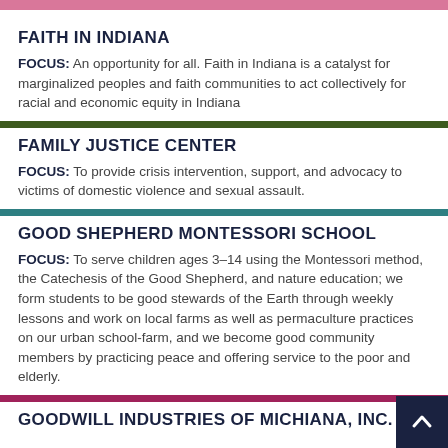FAITH IN INDIANA
FOCUS: An opportunity for all. Faith in Indiana is a catalyst for marginalized peoples and faith communities to act collectively for racial and economic equity in Indiana
FAMILY JUSTICE CENTER
FOCUS: To provide crisis intervention, support, and advocacy to victims of domestic violence and sexual assault.
GOOD SHEPHERD MONTESSORI SCHOOL
FOCUS: To serve children ages 3–14 using the Montessori method, the Catechesis of the Good Shepherd, and nature education; we form students to be good stewards of the Earth through weekly lessons and work on local farms as well as permaculture practices on our urban school-farm, and we become good community members by practicing peace and offering service to the poor and elderly.
GOODWILL INDUSTRIES OF MICHIANA, INC.